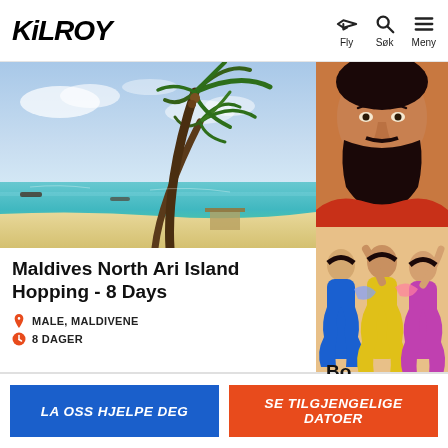KILROY | Fly | Søk | Meny
[Figure (photo): Tropical beach scene with palm trees leaning over turquoise water, small boat in background, blue sky]
Maldives North Ari Island Hopping - 8 Days
MALE, MALDIVENE
8 DAGER
[Figure (photo): Bearded man with colorful necklace, partial view (right card top)]
[Figure (photo): Women in colorful traditional dress dancing (right card bottom)]
Bo... Da...
LA OSS HJELPE DEG
SE TILGJENGELIGE DATOER